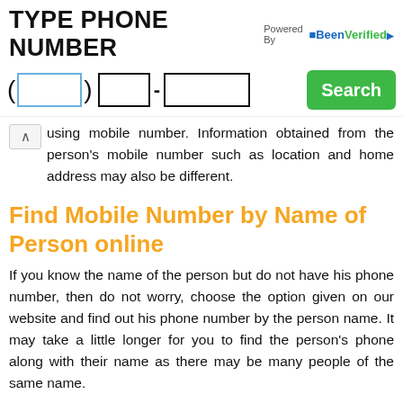TYPE PHONE NUMBER
[Figure (screenshot): Phone number search input fields with area code, prefix, line number fields and a green Search button. Powered by BeenVerified logo in top right.]
using mobile number. Information obtained from the person's mobile number such as location and home address may also be different.
Find Mobile Number by Name of Person online
If you know the name of the person but do not have his phone number, then do not worry, choose the option given on our website and find out his phone number by the person name. It may take a little longer for you to find the person's phone along with their name as there may be many people of the same name.